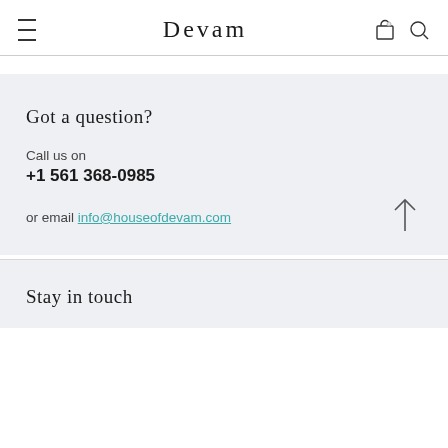devam
Got a question?
Call us on
+1 561 368-0985
or email info@houseofdevam.com
Stay in touch